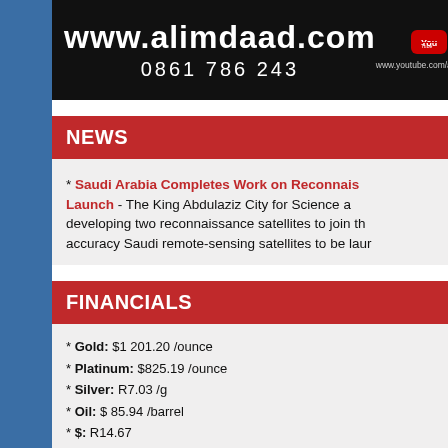www.alimdaad.com 0861 786 243 www.youtube.com/alimdaad
NEWS
* Saudi Arabia Completes Work on Reconnaissance Satellite Launch - The King Abdulaziz City for Science and Technology is developing two reconnaissance satellites to join the high-accuracy Saudi remote-sensing satellites to be launched.
FINANCIALS
* Gold: $1 201.20 /ounce
* Platinum: $825.19 /ounce
* Silver: R7.03 /g
* Oil: $ 85.94 /barrel
* $: R14.67
* €: R16.84
* £: R18.99
* Saudi Riyal: R3.91
* Mahr Fatimi: R11 114.33 (1530.90 grams of Silver)